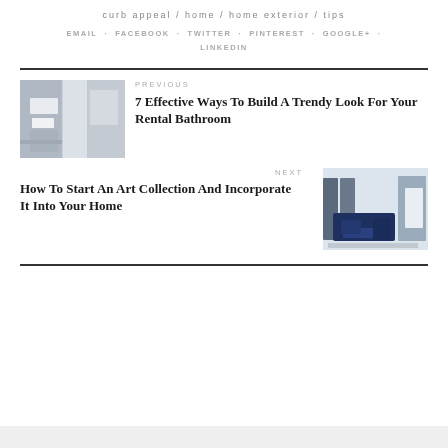curb appeal / home / home exterior / tips
EMAIL · FACEBOOK · TWITTER · PINTEREST · GOOGLE+ · LINKEDIN
PREVIOUS
7 Effective Ways To Build A Trendy Look For Your Rental Bathroom
[Figure (photo): Bathroom interior with white sink and bathtub in gray tones]
NEXT
How To Start An Art Collection And Incorporate It Into Your Home
[Figure (photo): Living room with blue sofa and large windows]